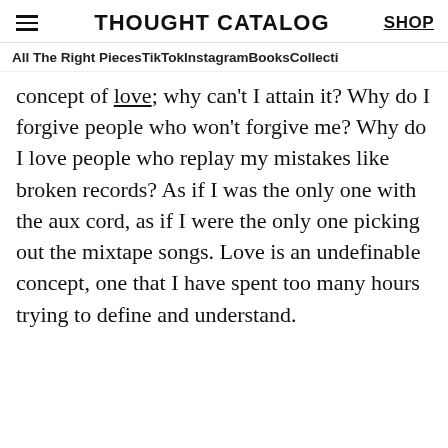THOUGHT CATALOG  SHOP
All The Right Pieces  TikTok  Instagram  Books  Collecti
concept of love; why can't I attain it? Why do I forgive people who won't forgive me? Why do I love people who replay my mistakes like broken records? As if I was the only one with the aux cord, as if I were the only one picking out the mixtape songs. Love is an undefinable concept, one that I have spent too many hours trying to define and understand.